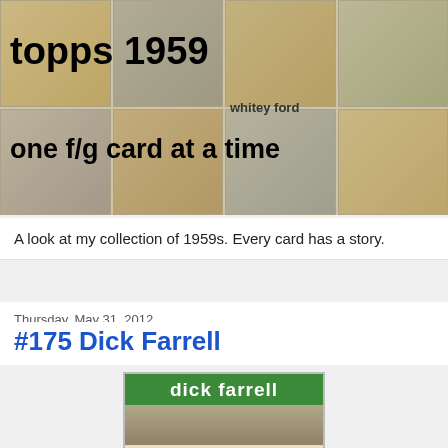[Figure (photo): Blog header banner showing a collage of 1959 Topps baseball cards including Ford Frick, Whitey Ford, Mickey Mantle, Steve Korcheon, and others. Overlaid text reads 'topps 1959' and 'one f/g card at a time'.]
A look at my collection of 1959s. Every card has a story.
Thursday, May 31, 2012
#175 Dick Farrell
[Figure (photo): Partial 1959 Topps baseball card showing green banner with 'dick farrell' text and bottom of player photo]